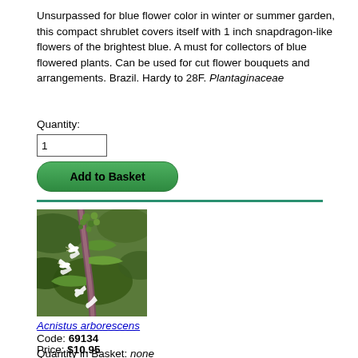Unsurpassed for blue flower color in winter or summer garden, this compact shrublet covers itself with 1 inch snapdragon-like flowers of the brightest blue. A must for collectors of blue flowered plants. Can be used for cut flower bouquets and arrangements. Brazil. Hardy to 28F. Plantaginaceae
Quantity:
1
Add to Basket
[Figure (photo): Photo of Acnistus arborescens plant with white tubular flowers and green leaves on a branch]
Acnistus arborescens
Code: 69134
Price: $10.95
Quantity in Basket: none